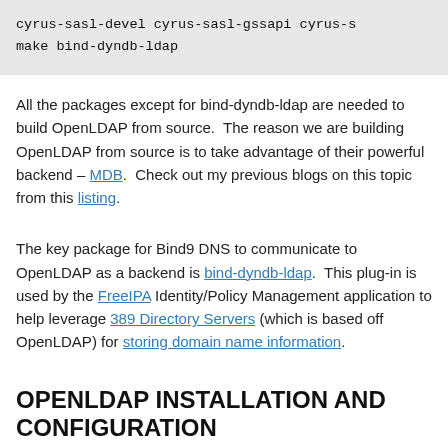cyrus-sasl-devel cyrus-sasl-gssapi cyrus-s
make bind-dyndb-ldap
All the packages except for bind-dyndb-ldap are needed to build OpenLDAP from source.  The reason we are building OpenLDAP from source is to take advantage of their powerful backend – MDB.  Check out my previous blogs on this topic from this listing.
The key package for Bind9 DNS to communicate to OpenLDAP as a backend is bind-dyndb-ldap.  This plug-in is used by the FreeIPA Identity/Policy Management application to help leverage 389 Directory Servers (which is based off OpenLDAP) for storing domain name information.
OPENLDAP INSTALLATION AND CONFIGURATION